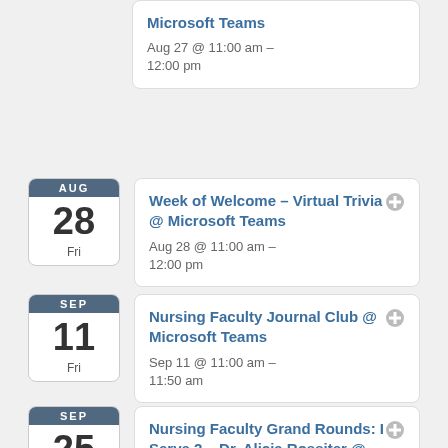Microsoft Teams
Aug 27 @ 11:00 am – 12:00 pm
AUG 28 Fri – Week of Welcome – Virtual Trivia @ Microsoft Teams
Aug 28 @ 11:00 am – 12:00 pm
SEP 11 Fri – Nursing Faculty Journal Club @ Microsoft Teams
Sep 11 @ 11:00 am – 11:50 am
SEP 25 Fri – Nursing Faculty Grand Rounds: I Serve 2 – Dr. Alicia Rossiter @ Microsoft Teams